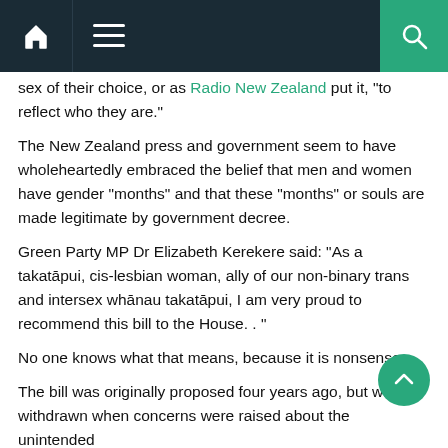Navigation bar with home, menu, and search icons
sex of their choice, or as Radio New Zealand put it, “to reflect who they are.”
The New Zealand press and government seem to have wholeheartedly embraced the belief that men and women have gender “months” and that these “months” or souls are made legitimate by government decree.
Green Party MP Dr Elizabeth Kerekere said: “As a takatĂ®pui, cis-lesbian woman, ally of our non-binary trans and intersex whĂnau takatĂ®pui, I am very proud to recommend this bill to the House. . ”
No one knows what that means, because it is nonsense.
The bill was originally proposed four years ago, but was withdrawn when concerns were raised about the unintended